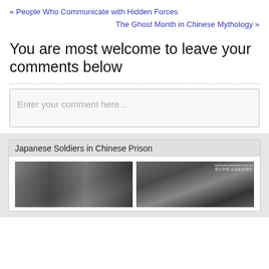« People Who Communicate with Hidden Forces
The Ghost Month in Chinese Mythology »
You are most welcome to leave your comments below
Enter your comment here...
Japanese Soldiers in Chinese Prison
[Figure (photo): Black and white photograph of Japanese soldiers in Chinese prison, two panels side by side with watermark www.picturechina.com.cn]